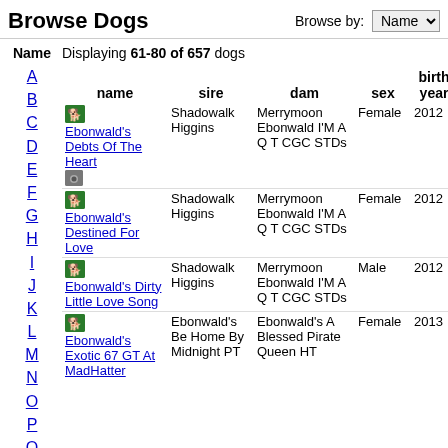Browse Dogs
Browse by: Name
Name   Displaying 61-80 of 657 dogs
| name | sire | dam | sex | birth year |
| --- | --- | --- | --- | --- |
| Ebonwald's Debts Of The Heart | Shadowalk Higgins | Merrymoon Ebonwald I'M A Q T CGC STDs | Female | 2012 |
| Ebonwald's Destined For Love | Shadowalk Higgins | Merrymoon Ebonwald I'M A Q T CGC STDs | Female | 2012 |
| Ebonwald's Dirty Little Love Song | Shadowalk Higgins | Merrymoon Ebonwald I'M A Q T CGC STDs | Male | 2012 |
| Ebonwald's Exotic 67 GT At MadHatter | Ebonwald's Be Home By Midnight PT | Ebonwald's A Blessed Pirate Queen HT | Female | 2013 |